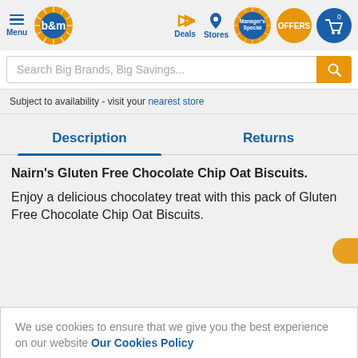B&M store website header with Menu, Logo, Deals, Stores, Manager's Special, OFFERS, and cart icons
Search Big Brands, Big Savings...
Subject to availability - visit your nearest store
Description | Returns
Nairn's Gluten Free Chocolate Chip Oat Biscuits.
Enjoy a delicious chocolatey treat with this pack of Gluten Free Chocolate Chip Oat Biscuits.
We use cookies to ensure that we give you the best experience on our website Our Cookies Policy